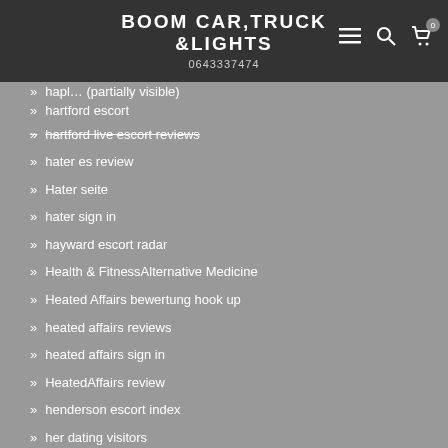BOOM CAR,TRUCK &LIGHTS
0643337474
hater es review
Hater seite
hater sign in
hayward escort radar
Health & FitnessAlternative Medicine
Heated Affairs bewertung hook up
heated affairs reviews
heated affairs sign in
HeatedAffairs review
henderson escort index
her dating visitors